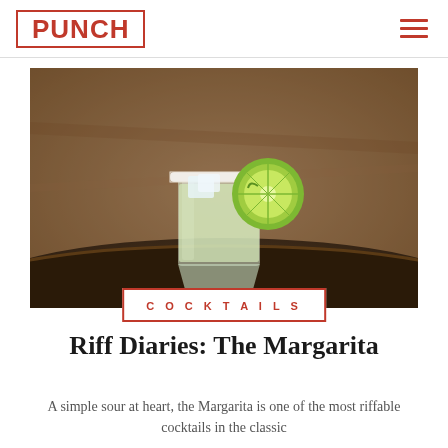PUNCH
[Figure (photo): A margarita cocktail in a short glass with a salted rim and a lime wheel garnish, sitting on a dark rustic barrel surface with a weathered brown background.]
COCKTAILS
Riff Diaries: The Margarita
A simple sour at heart, the Margarita is one of the most riffable cocktails in the classic